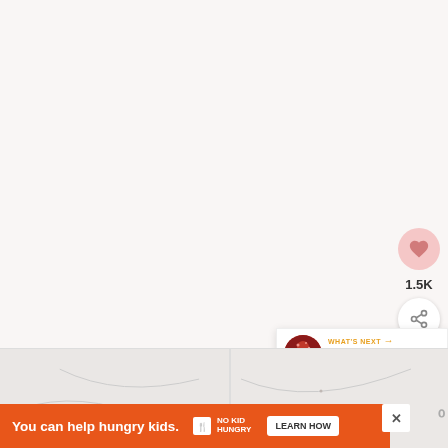[Figure (screenshot): Website screenshot showing a light pinkish-white background area (top portion of a recipe page), with social media interaction buttons on the right side: a heart/like button with pinkish background, a like count of 1.5K, and a share button. A 'What's Next' panel shows a thumbnail and 'Chocolate Sugar Cookies'. Bottom section shows two food photography panels and an orange ad banner reading 'You can help hungry kids.' with No Kid Hungry logo and LEARN HOW button.]